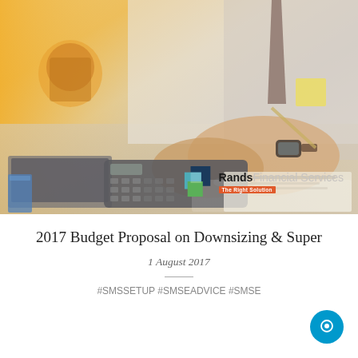[Figure (photo): Person in white shirt and tie using a calculator at a desk, with a laptop and binder visible, smartwatch on wrist. Rands Financial Services logo overlaid in bottom right corner.]
2017 Budget Proposal on Downsizing & Super
1 August 2017
#SMSSETUP #SMSEADVICE #SMSE